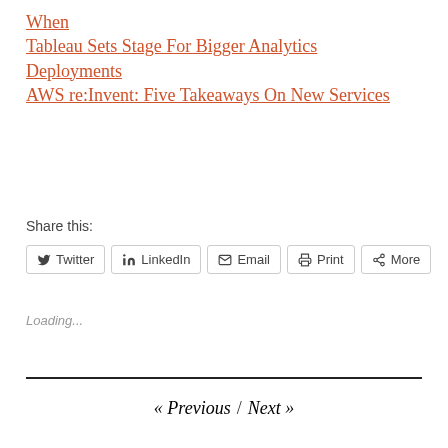When Tableau Sets Stage For Bigger Analytics Deployments
AWS re:Invent: Five Takeaways On New Services
Share this:
Twitter  LinkedIn  Email  Print  More
Loading...
« Previous / Next »